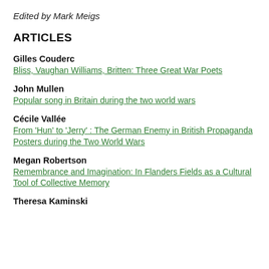Edited by Mark Meigs
ARTICLES
Gilles Couderc
Bliss, Vaughan Williams, Britten: Three Great War Poets
John Mullen
Popular song in Britain during the two world wars
Cécile Vallée
From 'Hun' to 'Jerry' : The German Enemy in British Propaganda Posters during the Two World Wars
Megan Robertson
Remembrance and Imagination: In Flanders Fields as a Cultural Tool of Collective Memory
Theresa Kaminski